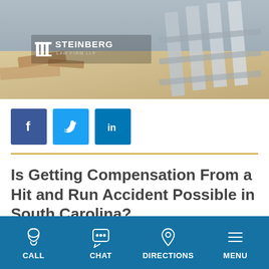[Figure (photo): Construction site or damaged steps/structure with sand and debris; Steinberg Law Firm logo overlaid in white at top left]
[Figure (infographic): Social media share icons: Facebook (dark blue), Twitter (light blue), LinkedIn (blue)]
Is Getting Compensation From a Hit and Run Accident Possible in South Carolina?
It is possible to get compensation from a hit and
CALL  CHAT  DIRECTIONS  MENU